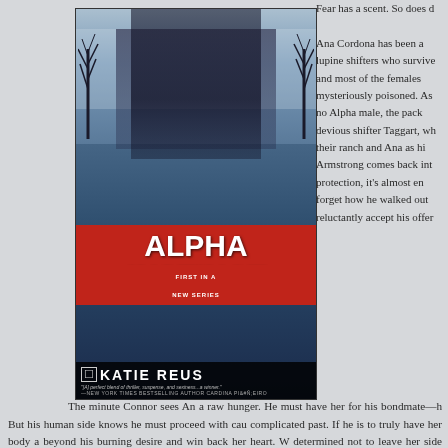[Figure (illustration): Book cover for 'Alpha Instinct' by Katie Reus. Shows a dark-haired woman in black leather outfit standing against a misty blue background with bare trees. A red banner in the middle displays the title 'ALPHA INSTINCT' in large white letters, with 'FIRST IN A NEW SERIES' text. Author name 'KATIE REUS' appears at the bottom with a publisher logo. A quote reads '[A] perfect blend of thriller, suspense, and sexiness...a winner.' —NEW YORK TIMES BESTSELLING AUTHOR CARDINA PIÑEIRO]
Fear has a scent. So does d...
Ana Cordona has been a lupine shifters who survive and most of the females mysteriously poisoned. As no Alpha male, the pack devious shifter Taggart, wh their ranch and Ana as hi Armstrong comes back int protection, it's almost en forget how he walked out reluctantly accept his offer
The minute Connor sees An a raw hunger. He must have her for his bondmate—h But his human side knows he must proceed with cau complicated past. If he is to truly have her body a beyond his burning desire and win back her heart. W determined not to leave her side again.
But Taggart and his rival pack are not their only enem...